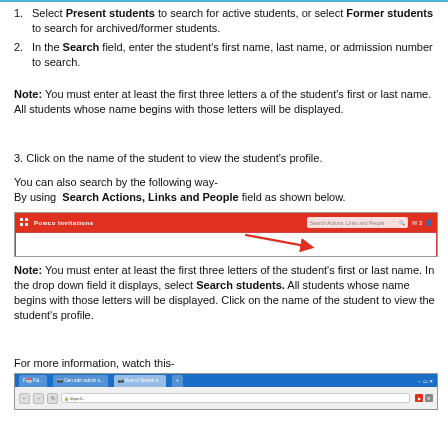1. Select Present students to search for active students, or select Former students to search for archived/former students.
2. In the Search field, enter the student's first name, last name, or admission number to search.
Note: You must enter at least the first three letters a of the student's first or last name. All students whose name begins with those letters will be displayed.
3. Click on the name of the student to view the student's profile.
You can also search by the following way-
By using Search Actions, Links and People field as shown below.
[Figure (screenshot): Screenshot of application navigation bar with red background showing 'Search Actions, Links and People' search field, with red arrow pointing to it]
Note: You must enter at least the first three letters of the student's first or last name. In the drop down field it displays, select Search students. All students whose name begins with those letters will be displayed. Click on the name of the student to view the student's profile.
For more information, watch this-
[Figure (screenshot): Screenshot of a web browser with blue navigation bar showing multiple tabs]